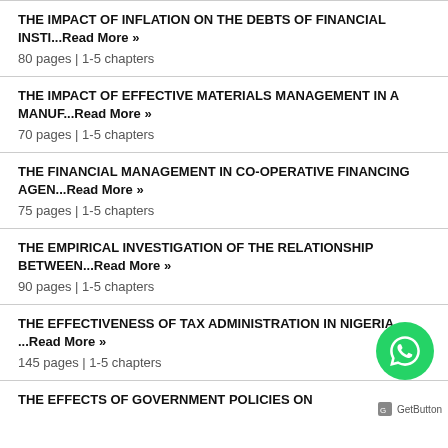THE IMPACT OF INFLATION ON THE DEBTS OF FINANCIAL INSTI...Read More »
80 pages | 1-5 chapters
THE IMPACT OF EFFECTIVE MATERIALS MANAGEMENT IN A MANUF...Read More »
70 pages | 1-5 chapters
THE FINANCIAL MANAGEMENT IN CO-OPERATIVE FINANCING AGEN...Read More »
75 pages | 1-5 chapters
THE EMPIRICAL INVESTIGATION OF THE RELATIONSHIP BETWEEN...Read More »
90 pages | 1-5 chapters
THE EFFECTIVENESS OF TAX ADMINISTRATION IN NIGERIA ...Read More »
145 pages | 1-5 chapters
THE EFFECTS OF GOVERNMENT POLICIES ON